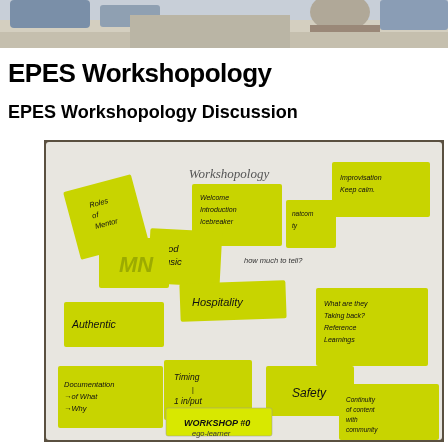[Figure (photo): Top portion of a photo showing people at a workshop, partially cropped at the top of the page]
EPES Workshopology
EPES Workshopology Discussion
[Figure (photo): Photo of a whiteboard covered with yellow sticky notes about 'Workshopology' topics including: Roles of Mentor, Food Music, Welcome Introduction, Icebreaker, Improvisation Keep calm, How much to tell?, Authentic, Hospitality, What are they taking back? Reference Learnings, Documentation of what, of why, Timing Input, Safety, Workshop #0, Ego-learner, Continuity of content with community]